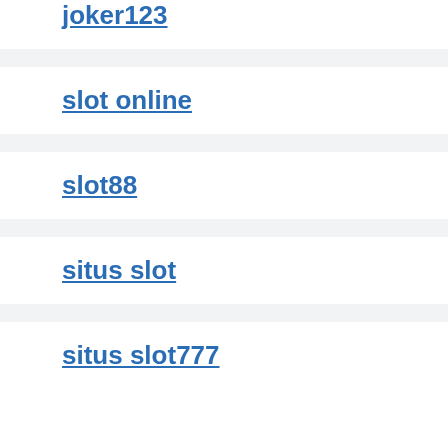joker123
slot online
slot88
situs slot
situs slot777